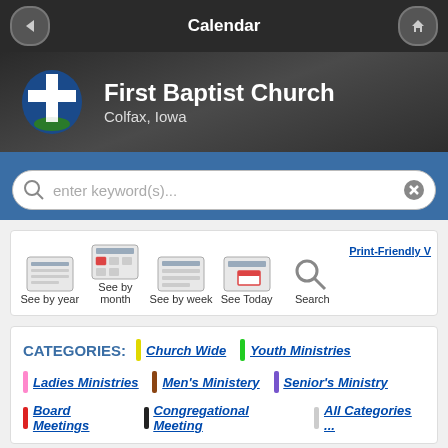Calendar
[Figure (logo): First Baptist Church Colfax Iowa logo with cross and leaf shield]
First Baptist Church
Colfax, Iowa
enter keyword(s)...
[Figure (infographic): Calendar navigation icons: See by year, See by month, See by week, See Today, Search, Print-Friendly]
CATEGORIES:
Church Wide
Youth Ministries
Ladies Ministries
Men's Ministery
Senior's Ministry
Board Meetings
Congregational Meeting
All Categories ...
Monthly Vi...